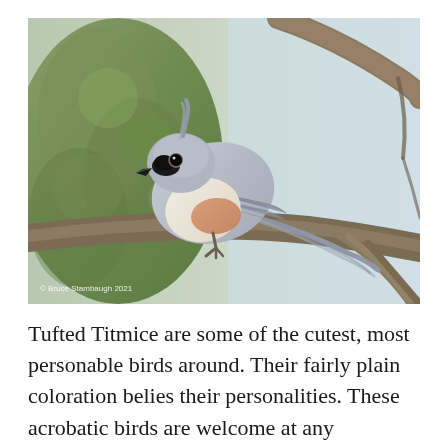[Figure (photo): A Tufted Titmouse bird perched on a bare tree branch, facing left. The bird has gray plumage on its back and wings, a white/pale buff chest with rusty-orange flanks, a small black beak, and a black patch above the beak. The background shows a mossy green tree trunk on the left and a pale blue-gray sky on the right. Photo credit watermark reads '© Bruce Stambaugh 2021' in the lower left.]
Tufted Titmice are some of the cutest, most personable birds around. Their fairly plain coloration belies their personalities. These acrobatic birds are welcome at any backyard bird feeder. You can often hear them coming